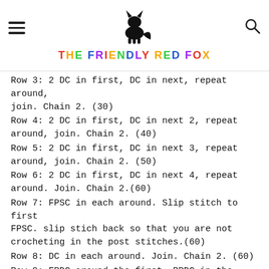THE FRIENDLY RED FOX
Row 3: 2 DC in first, DC in next, repeat around, join. Chain 2. (30)
Row 4: 2 DC in first, DC in next 2, repeat around, join. Chain 2. (40)
Row 5: 2 DC in first, DC in next 3, repeat around, join. Chain 2. (50)
Row 6: 2 DC in first, DC in next 4, repeat around. Join. Chain 2.(60)
Row 7: FPSC in each around. Slip stitch to first FPSC. slip stich back so that you are not crocheting in the post stitches.(60)
Row 8: DC in each around. Join. Chain 2. (60)
Row 9: FPDC around the first, BPDC in the